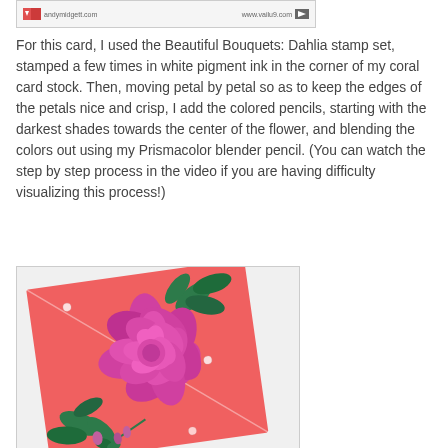[Figure (photo): Top partial screenshot showing website URLs on a light gray background strip]
For this card, I used the Beautiful Bouquets: Dahlia stamp set, stamped a few times in white pigment ink in the corner of my coral card stock. Then, moving petal by petal so as to keep the edges of the petals nice and crisp, I add the colored pencils, starting with the darkest shades towards the center of the flower, and blending the colors out using my Prismacolor blender pencil. (You can watch the step by step process in the video if you are having difficulty visualizing this process!)
[Figure (photo): Photo of a coral/salmon colored card with pink dahlia flowers and green leaves stamped and colored in the corner, showing a diagonal crease line across the card]